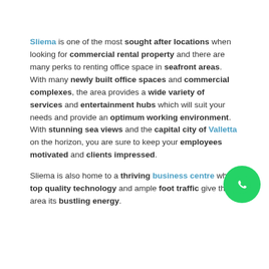Sliema is one of the most sought after locations when looking for commercial rental property and there are many perks to renting office space in seafront areas. With many newly built office spaces and commercial complexes, the area provides a wide variety of services and entertainment hubs which will suit your needs and provide an optimum working environment. With stunning sea views and the capital city of Valletta on the horizon, you are sure to keep your employees motivated and clients impressed.
Sliema is also home to a thriving business centre where top quality technology and ample foot traffic give the area its bustling energy.